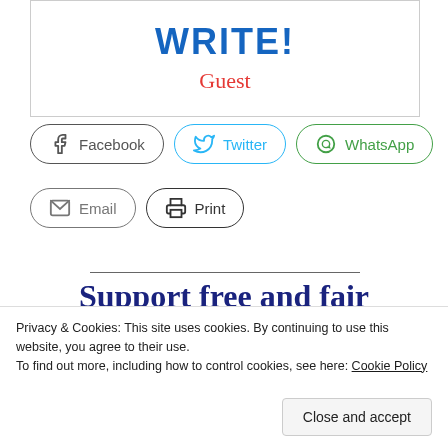WRITE!
Guest
[Figure (screenshot): Social share buttons: Facebook, Twitter, WhatsApp, Email, Print]
Support free and fair journalism
Privacy & Cookies: This site uses cookies. By continuing to use this website, you agree to their use. To find out more, including how to control cookies, see here: Cookie Policy
Close and accept
We are the organisation that has dreamt of becoming a